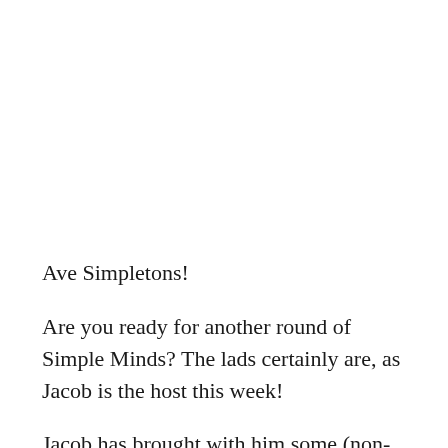Ave Simpletons!
Are you ready for another round of Simple Minds? The lads certainly are, as Jacob is the host this week!
Jacob has brought with him some (non-alcoholic) Muscle Milk from Asahi Bros. that the guys are all